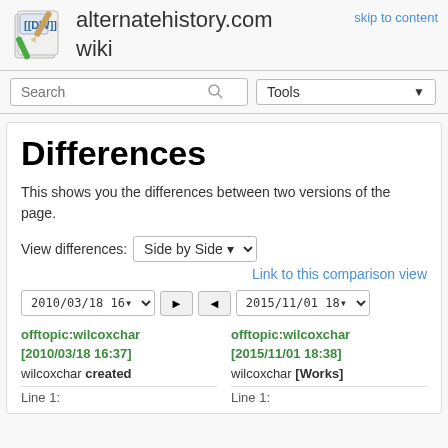alternatehistory.com wiki
skip to content
Differences
This shows you the differences between two versions of the page.
View differences: Side by Side
Link to this comparison view
2010/03/18 16▾  ►  ◄  2015/11/01 18▾
offtopic:wilcoxchar [2010/03/18 16:37]
offtopic:wilcoxchar [2015/11/01 18:38]
wilcoxchar created
wilcoxchar [Works]
Line 1:
Line 1: